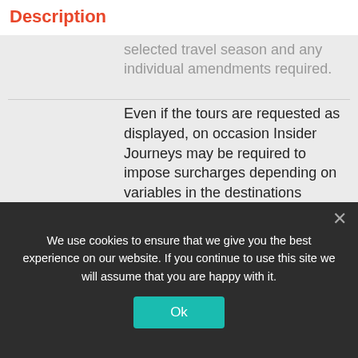Description
selected travel season and any individual amendments required.
Even if the tours are requested as displayed, on occasion Insider Journeys may be required to impose surcharges depending on variables in the destinations outside of its control. Due to hotel availability in some destinations the accommodation stated in the itinerary may change to that of a similar standard. In light of recent worldwide events and due to the ever-changing current situation, there may also need to be more flexibility applied to the touring content and schedule in
We use cookies to ensure that we give you the best experience on our website. If you continue to use this site we will assume that you are happy with it.